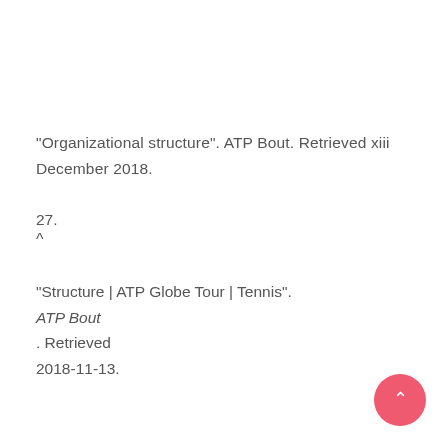"Organizational structure". ATP Bout. Retrieved xiii December 2018.
27.
^
"Structure | ATP Globe Tour | Tennis". ATP Bout. Retrieved 2018-11-13.